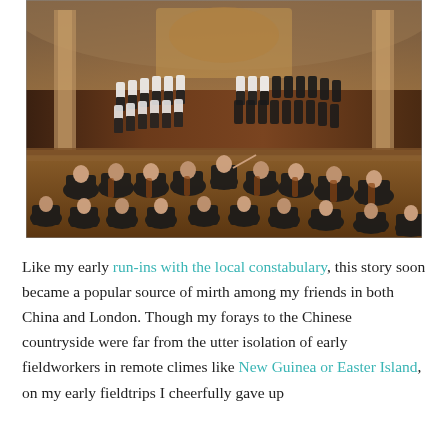[Figure (photo): Orchestra and choir performing on an ornate concert hall stage with elaborate baroque decorations, murals, and columns in the background. Choir members in black and white formal attire stand on risers at the back, while orchestra musicians in black formal wear sit in the foreground with their instruments.]
Like my early run-ins with the local constabulary, this story soon became a popular source of mirth among my friends in both China and London. Though my forays to the Chinese countryside were far from the utter isolation of early fieldworkers in remote climes like New Guinea or Easter Island, on my early fieldtrips I cheerfully gave up